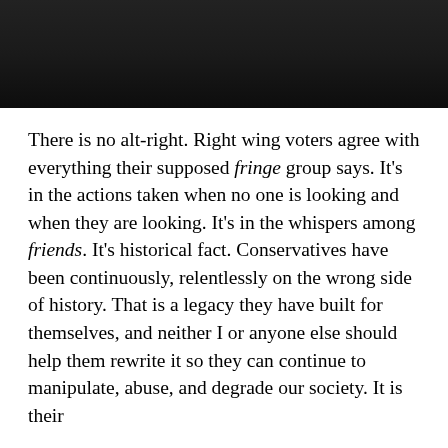[Figure (photo): Dark, high-contrast black and white photograph at the top of the page, showing a dimly lit scene with minimal visible detail.]
There is no alt-right. Right wing voters agree with everything their supposed fringe group says. It's in the actions taken when no one is looking and when they are looking. It's in the whispers among friends. It's historical fact. Conservatives have been continuously, relentlessly on the wrong side of history. That is a legacy they have built for themselves, and neither I or anyone else should help them rewrite it so they can continue to manipulate, abuse, and degrade our society. It is their